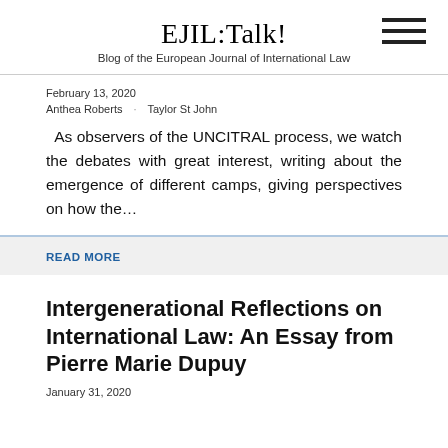EJIL:Talk!
Blog of the European Journal of International Law
February 13, 2020
Anthea Roberts · Taylor St John
As observers of the UNCITRAL process, we watch the debates with great interest, writing about the emergence of different camps, giving perspectives on how the…
READ MORE
Intergenerational Reflections on International Law: An Essay from Pierre Marie Dupuy
January 31, 2020